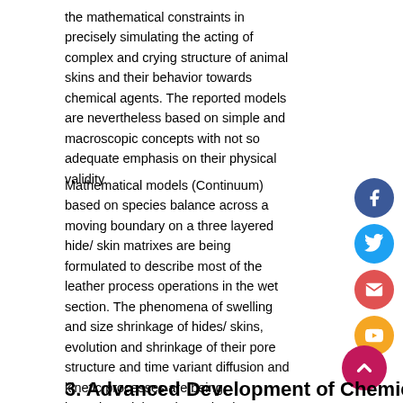the mathematical constraints in precisely simulating the acting of complex and crying structure of animal skins and their behavior towards chemical agents. The reported models are nevertheless based on simple and macroscopic concepts with not so adequate emphasis on their physical validity.
Mathematical models (Continuum) based on species balance across a moving boundary on a three layered hide/ skin matrixes are being formulated to describe most of the leather process operations in the wet section. The phenomena of swelling and size shrinkage of hides/ skins, evolution and shrinkage of their pore structure and time variant diffusion and kinetic processes are being investigated through academic research programmes.
3. Advanced Development of Chemical...